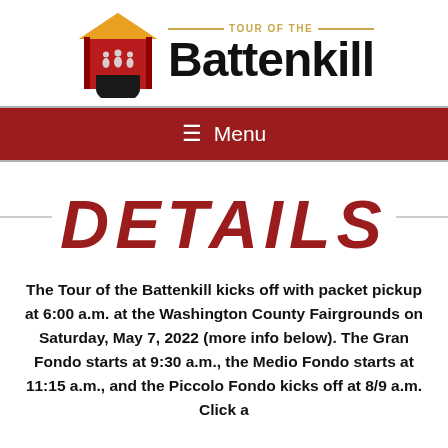[Figure (logo): Tour of the Battenkill logo: red barn with cyclists silhouette, gold roof, with 'TOUR OF THE' in gold and 'Battenkill' in large black bold text]
☰  Menu
DETAILS
The Tour of the Battenkill kicks off with packet pickup at 6:00 a.m. at the Washington County Fairgrounds on Saturday, May 7, 2022 (more info below). The Gran Fondo starts at 9:30 a.m., the Medio Fondo starts at 11:15 a.m., and the Piccolo Fondo kicks off at 8/9 a.m. Click a